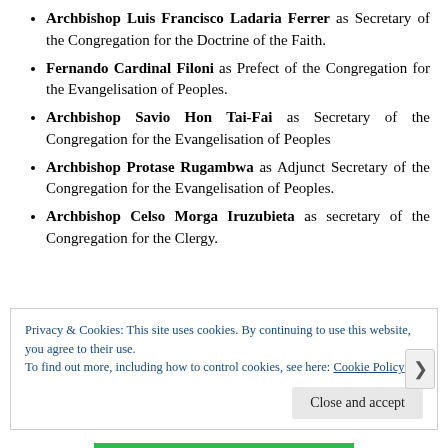Archbishop Luis Francisco Ladaria Ferrer as Secretary of the Congregation for the Doctrine of the Faith.
Fernando Cardinal Filoni as Prefect of the Congregation for the Evangelisation of Peoples.
Archbishop Savio Hon Tai-Fai as Secretary of the Congregation for the Evangelisation of Peoples
Archbishop Protase Rugambwa as Adjunct Secretary of the Congregation for the Evangelisation of Peoples.
Archbishop Celso Morga Iruzubieta as secretary of the Congregation for the Clergy.
Privacy & Cookies: This site uses cookies. By continuing to use this website, you agree to their use.
To find out more, including how to control cookies, see here: Cookie Policy